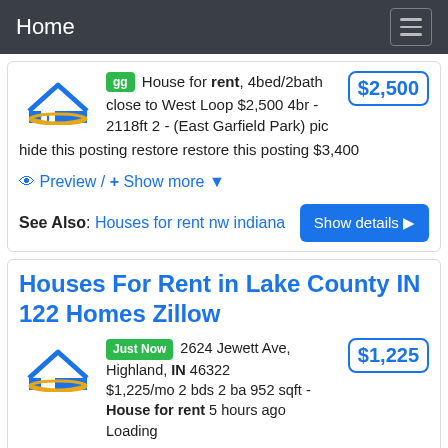Home
House for rent, 4bed/2bath close to West Loop $2,500 4br - 2118ft 2 - (East Garfield Park) pic hide this posting restore restore this posting $3,400
Preview / + Show more
See Also: Houses for rent nw indiana  Show details
Houses For Rent in Lake County IN 122 Homes Zillow
Just Now 2624 Jewett Ave, Highland, IN 46322 $1,225/mo 2 bds 2 ba 952 sqft - House for rent 5 hours ago Loading
5005 Chase St, Gary, IN 46408 $1,295/mo 3 bds 2 ba